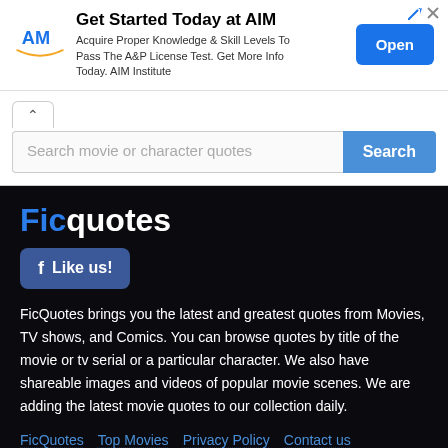[Figure (infographic): Advertisement banner for AIM Institute with logo, text, and Open button]
Get Started Today at AIM
Acquire Proper Knowledge & Skill Levels To Pass The A&P License Test. Get More Info Today. AIM Institute
Search movie or character quotes
Ficquotes
Like us!
FicQuotes brings you the latest and greatest quotes from Movies, TV shows, and Comics. You can browse quotes by title of the movie or tv serial or a particular character. We also have shareable images and videos of popular movie scenes. We are adding the latest movie quotes to our collection daily.
FicQuotes  Top Movies  Privacy Policy  Contact us
Copyright 2022 — FicQuotes.Com